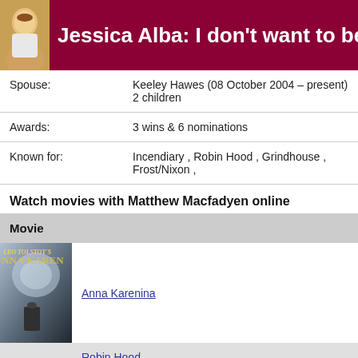Jessica Alba: I don't want to be stay-at-
| Field | Value |
| --- | --- |
| Spouse: | Keeley Hawes (08 October 2004 – present) 2 children |
| Awards: | 3 wins & 6 nominations |
| Known for: | Incendiary , Robin Hood , Grindhouse , Frost/Nixon , |
Watch movies with Matthew Macfadyen online
| Movie |
| --- |
| Anna Karenina |
| Robin Hood |
| The Three Musketeers |
Matthew Macfadyen biography